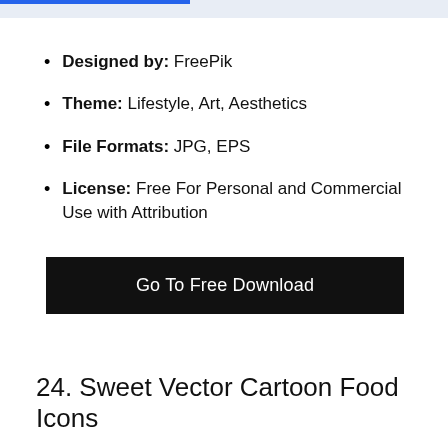Designed by: FreePik
Theme: Lifestyle, Art, Aesthetics
File Formats: JPG, EPS
License: Free For Personal and Commercial Use with Attribution
Go To Free Download
24. Sweet Vector Cartoon Food Icons